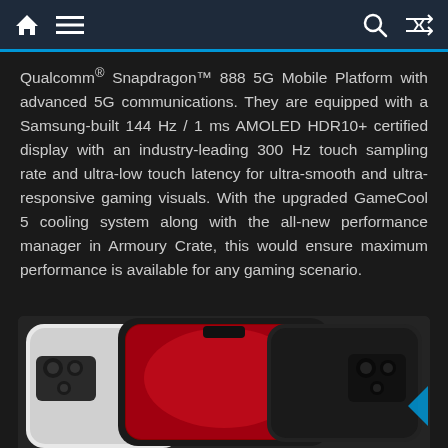Navigation bar with home, menu, search, and shuffle icons
Qualcomm® Snapdragon™ 888 5G Mobile Platform with advanced 5G communications. They are equipped with a Samsung-built 144 Hz / 1 ms AMOLED HDR10+ certified display with an industry-leading 300 Hz touch sampling rate and ultra-low touch latency for ultra-smooth and ultra-responsive gaming visuals. With the upgraded GameCool 5 cooling system along with the all-new performance manager in Armoury Crate, this would ensure maximum performance is available for any gaming scenario.
[Figure (photo): Three ASUS ROG Phone 5 smartphones shown from front and back angles, displaying the phone's design with camera modules and dual-screen setup. The center phone shows a red display.]